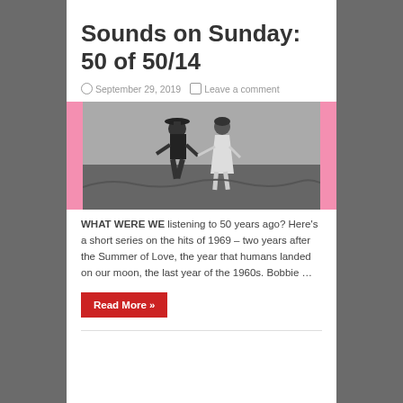Sounds on Sunday: 50 of 50/14
September 29, 2019   Leave a comment
[Figure (photo): Black and white photo of two people (a man in a hat and dark clothing and a woman in a light dress) running through a grassy field, holding hands. Pink border on sides.]
WHAT WERE WE listening to 50 years ago? Here’s a short series on the hits of 1969 – two years after the Summer of Love, the year that humans landed on our moon, the last year of the 1960s. Bobbie ...
Read More »